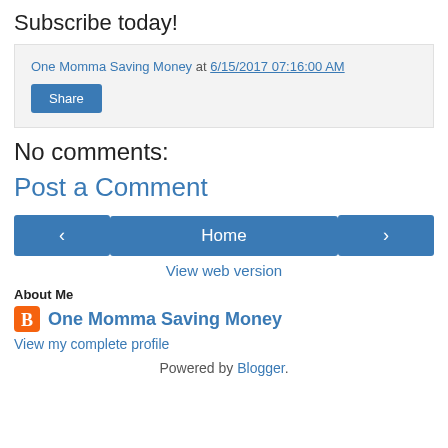Subscribe today!
One Momma Saving Money at 6/15/2017 07:16:00 AM
Share
No comments:
Post a Comment
‹ Home ›
View web version
About Me
One Momma Saving Money
View my complete profile
Powered by Blogger.